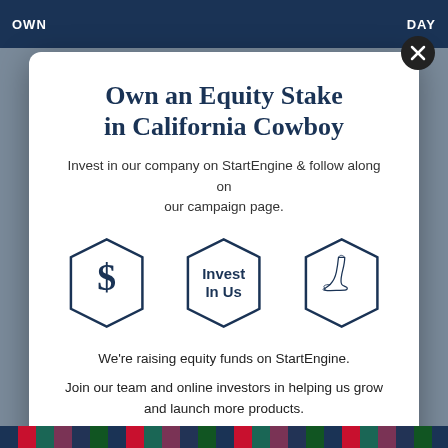OWN ... DAY
Own an Equity Stake in California Cowboy
Invest in our company on StartEngine & follow along on our campaign page.
[Figure (illustration): Three hexagonal icons: a dollar sign symbol, a center hexagon labeled 'Invest In Us', and a cowboy boot illustration]
We're raising equity funds on StartEngine.
Join our team and online investors in helping us grow and launch more products.
Own a piece of the growth we're anticipating.
View Campaign